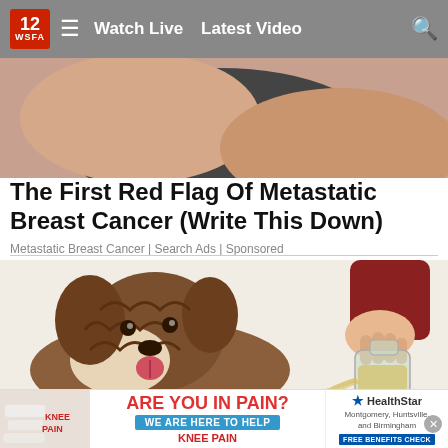12 WSFA | Watch Live  Latest Video
[Figure (photo): Close-up photo of a woman in a dark sports bra and pink strap, holding her chest area, suggesting breast pain or discomfort.]
The First Red Flag Of Metastatic Breast Cancer (Write This Down)
Metastatic Breast Cancer | Search Ads | Sponsored
[Figure (illustration): Illustration of a fluffy brown dog (Labradoodle-type) looking at a hand pouring liquid from a glass bottle.]
[Figure (photo): Advertisement banner: ARE YOU IN PAIN? WE ARE HERE TO HELP / KNEE PAIN — HealthStar, Montgomery, Huntsville, and Birmingham, FREE BENEFITS CHECK]